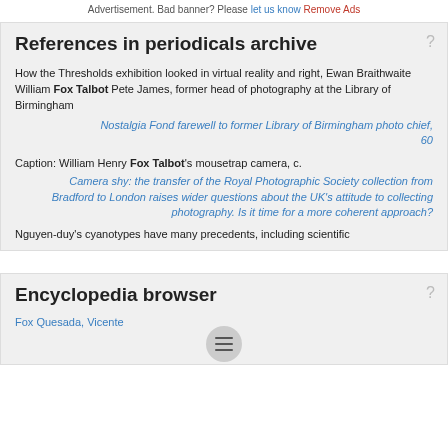Advertisement. Bad banner? Please let us know Remove Ads
References in periodicals archive
How the Thresholds exhibition looked in virtual reality and right, Ewan Braithwaite William Fox Talbot Pete James, former head of photography at the Library of Birmingham
Nostalgia Fond farewell to former Library of Birmingham photo chief, 60
Caption: William Henry Fox Talbot's mousetrap camera, c.
Camera shy: the transfer of the Royal Photographic Society collection from Bradford to London raises wider questions about the UK's attitude to collecting photography. Is it time for a more coherent approach?
Nguyen-duy's cyanotypes have many precedents, including scientific
Encyclopedia browser
Fox Quesada, Vicente